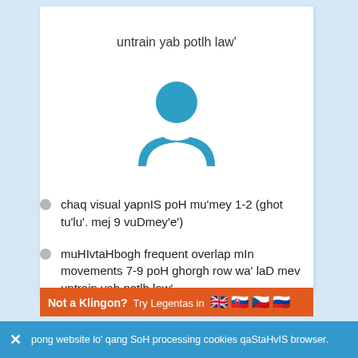untrain yab potlh law'
[Figure (illustration): Blue person/user icon silhouette — head (circle) and shoulders (arc shape)]
chaq visual yapnIS poH mu'mey 1-2 (ghot tu'lu'. mej 9 vuDmey'e')
muHIvtaHbogh frequent overlap mIn movements 7-9 poH ghorgh row wa' laD mev untrain yab potlh law'
Not a Klingon? Try Legentas in 🇬🇧 🇸🇰 🇨🇿 🇷🇺
pong website lo' qang SoH processing cookies qaStaHvIS browser.